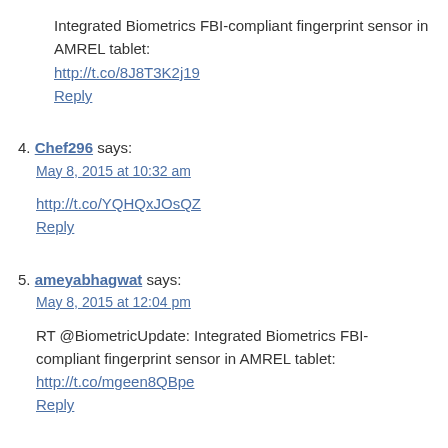Integrated Biometrics FBI-compliant fingerprint sensor in AMREL tablet: http://t.co/8J8T3K2j19 Reply
4. Chef296 says: May 8, 2015 at 10:32 am http://t.co/YQHQxJOsQZ Reply
5. ameyabhagwat says: May 8, 2015 at 12:04 pm RT @BiometricUpdate: Integrated Biometrics FBI-compliant fingerprint sensor in AMREL tablet: http://t.co/mgeen8QBpe Reply
6. BiometricJustin says: May 8, 2015 at 2:20 pm